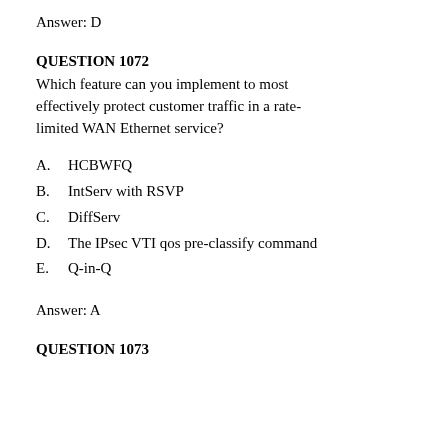Answer: D
QUESTION 1072
Which feature can you implement to most effectively protect customer traffic in a rate-limited WAN Ethernet service?
A.    HCBWFQ
B.    IntServ with RSVP
C.    DiffServ
D.    The IPsec VTI qos pre-classify command
E.    Q-in-Q
Answer: A
QUESTION 1073